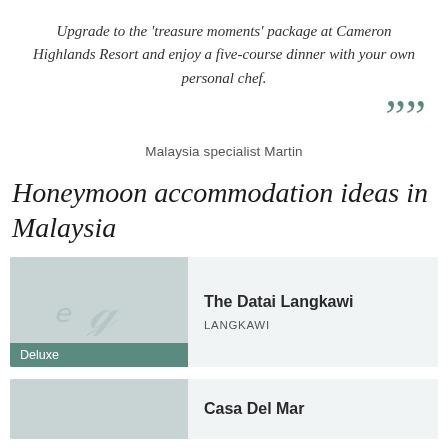Upgrade to the 'treasure moments' package at Cameron Highlands Resort and enjoy a five-course dinner with your own personal chef.
””
Malaysia specialist Martin
Honeymoon accommodation ideas in Malaysia
[Figure (other): Hotel card for The Datai Langkawi with a placeholder logo image, grey background, and a teal 'Deluxe' badge at the bottom]
[Figure (other): Hotel card for Casa Del Mar with a grey placeholder image on the left]